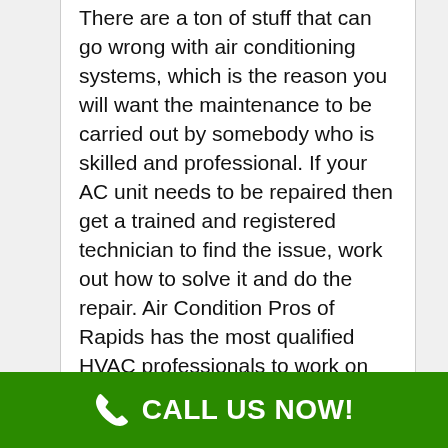There are a ton of stuff that can go wrong with air conditioning systems, which is the reason you will want the maintenance to be carried out by somebody who is skilled and professional. If your AC unit needs to be repaired then get a trained and registered technician to find the issue, work out how to solve it and do the repair. Air Condition Pros of Rapids has the most qualified HVAC professionals to work on your air conditioning unit to revive it to its original performance. Call them now. If you have lived in Rapids NY and have been through a few days in the summer season without air conditioning in your home or company you know it's not a pleasurable experience when it is hot, stuffy and humid. The Emergency Air Conditioning Repair service of our business can repair your property system 24 hours a day. Standby tech is just waiting for your phone call and ready to start the job. It doesn't matter if you call in the middle of the night, we will still respond to your problem, as our Air conditioning repair experts are on a 24-hour call-
CALL US NOW!